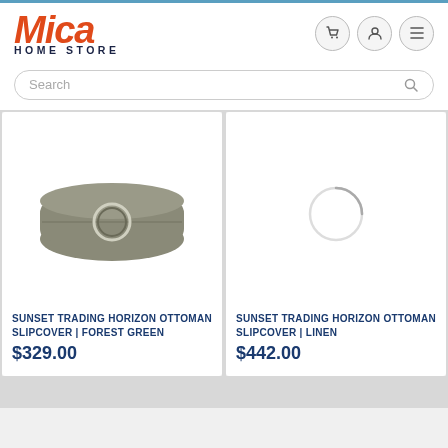[Figure (logo): Mica Home Store logo — 'Mica' in orange-red bold italic, 'HOME STORE' in dark navy small caps below]
[Figure (screenshot): Three circular icon buttons: shopping cart, user profile, hamburger menu]
Search
[Figure (photo): Sunset Trading Horizon Ottoman Slipcover in Forest Green — taupe/gray-green cushion cover with circular ring detail]
SUNSET TRADING HORIZON OTTOMAN SLIPCOVER | FOREST GREEN
$329.00
[Figure (other): Loading spinner circle (partial circle arc) indicating image loading in progress]
SUNSET TRADING HORIZON OTTOMAN SLIPCOVER | LINEN
$442.00